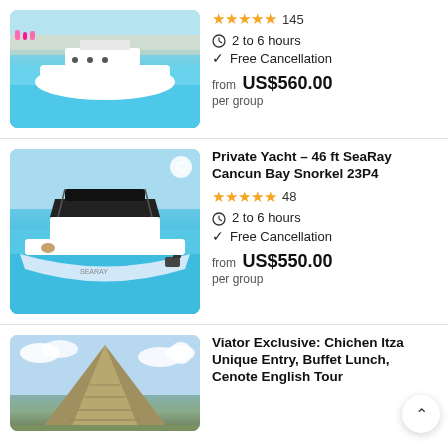[Figure (photo): White motor yacht on turquoise water with people on shore in background]
★★★★★ 145
2 to 6 hours
✓ Free Cancellation
from US$560.00
per group
[Figure (photo): Large white yacht with bimini top on turquoise water, person sitting on back]
Private Yacht – 46 ft SeaRay Cancun Bay Snorkel 23P4
★★★★★ 48
2 to 6 hours
✓ Free Cancellation
from US$550.00
per group
[Figure (photo): Chichen Itza pyramid against blue sky with clouds]
Viator Exclusive: Chichen Itza Unique Entry, Buffet Lunch, Cenote English Tour